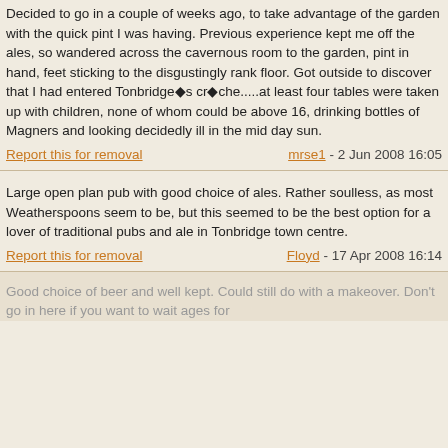Decided to go in a couple of weeks ago, to take advantage of the garden with the quick pint I was having. Previous experience kept me off the ales, so wandered across the cavernous room to the garden, pint in hand, feet sticking to the disgustingly rank floor. Got outside to discover that I had entered Tonbridge�s cr�che.....at least four tables were taken up with children, none of whom could be above 16, drinking bottles of Magners and looking decidedly ill in the mid day sun.
Report this for removal   mrse1 - 2 Jun 2008 16:05
Large open plan pub with good choice of ales. Rather soulless, as most Weatherspoons seem to be, but this seemed to be the best option for a lover of traditional pubs and ale in Tonbridge town centre.
Report this for removal   Floyd - 17 Apr 2008 16:14
Good choice of beer and well kept. Could still do with a makeover. Don’t go in here if you want to wait ages for